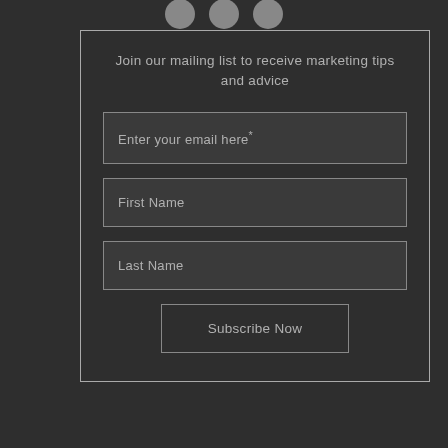Join our mailing list to receive marketing tips and advice
Enter your email here*
First Name
Last Name
Subscribe Now